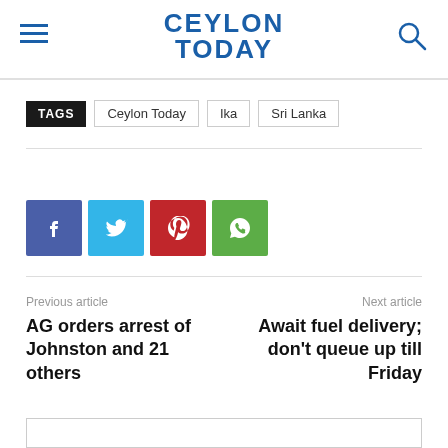CEYLON TODAY
TAGS  Ceylon Today  Ika  Sri Lanka
[Figure (infographic): Social share buttons: Facebook (blue), Twitter (light blue), Pinterest (red), WhatsApp (green)]
Previous article
AG orders arrest of Johnston and 21 others
Next article
Await fuel delivery; don't queue up till Friday